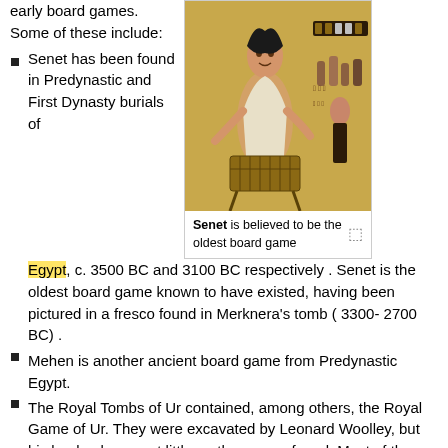early board games. Some of these include:
[Figure (illustration): Ancient Egyptian fresco showing a seated figure playing Senet, a board game, with game pieces visible]
Senet is believed to be the oldest board game
Senet has been found in Predynastic and First Dynasty burials of Egypt, c. 3500 BC and 3100 BC respectively . Senet is the oldest board game known to have existed, having been pictured in a fresco found in Merknera's tomb ( 3300- 2700 BC) .
Mehen is another ancient board game from Predynastic Egypt.
The Royal Tombs of Ur contained, among others, the Royal Game of Ur. They were excavated by Leonard Woolley, but his books document little on the games found. Most of the games he excavated are now housed in the British Museum in London.
Buddha games list is the earliest known list of games.
Timeline
c. 3500 BC - Senet found in Predynastic Egyptian burials; also